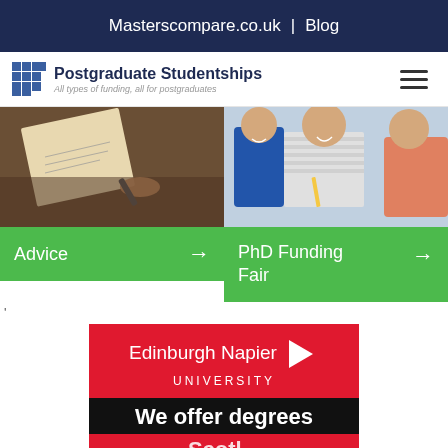Masterscompare.co.uk | Blog
[Figure (logo): Postgraduate Studentships logo with grid icon and tagline 'All types of funding, all for postgraduates']
[Figure (photo): Person writing on paper, warm-toned photo]
Advice →
[Figure (photo): Students sitting in class, smiling]
PhD Funding Fair →
[Figure (infographic): Edinburgh Napier University advertisement banner in red with black bar reading 'We offer degrees']